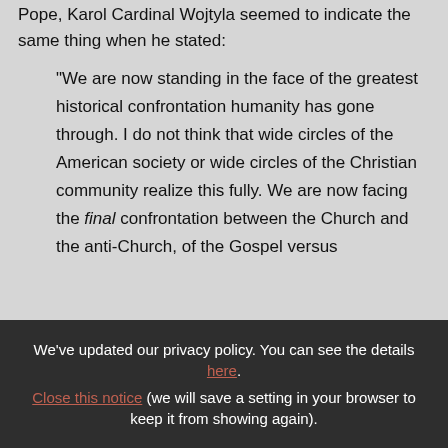Pope, Karol Cardinal Wojtyla seemed to indicate the same thing when he stated:
"We are now standing in the face of the greatest historical confrontation humanity has gone through. I do not think that wide circles of the American society or wide circles of the Christian community realize this fully. We are now facing the final confrontation between the Church and the anti-Church, of the Gospel versus
We've updated our privacy policy. You can see the details here.
Close this notice (we will save a setting in your browser to keep it from showing again).